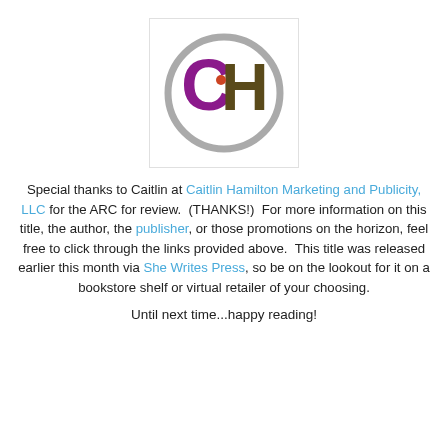[Figure (logo): Caitlin Hamilton Marketing and Publicity logo: a circle with letters C and H inside, C in purple, H in dark brown/olive, small orange dot between them, grey circle border, white square background with light border.]
Special thanks to Caitlin at Caitlin Hamilton Marketing and Publicity, LLC for the ARC for review. (THANKS!) For more information on this title, the author, the publisher, or those promotions on the horizon, feel free to click through the links provided above. This title was released earlier this month via She Writes Press, so be on the lookout for it on a bookstore shelf or virtual retailer of your choosing.
Until next time...happy reading!